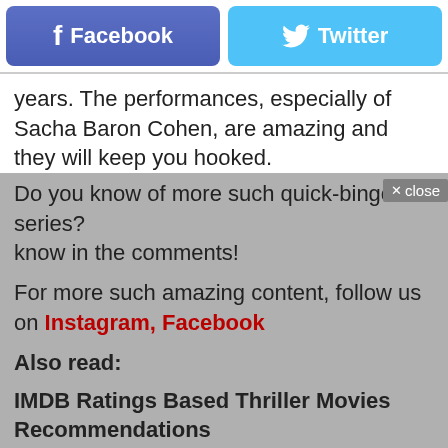[Figure (other): Facebook and Twitter social share buttons side by side]
years. The performances, especially of Sacha Baron Cohen, are amazing and they will keep you hooked.
Do you know of more such quick-binge series? Let us know in the comments!
For more such amazing content, follow us on Instagram, Facebook
Also read:
IMDB Ratings Based Thriller Movies Recommendations
Horror Series to Watch Online: The Curated Version